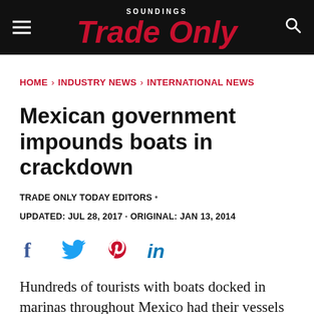SOUNDINGS Trade Only
HOME › INDUSTRY NEWS › INTERNATIONAL NEWS
Mexican government impounds boats in crackdown
TRADE ONLY TODAY EDITORS •
UPDATED: JUL 28, 2017 · ORIGINAL: JAN 13, 2014
[Figure (infographic): Social sharing icons: Facebook, Twitter, Pinterest, LinkedIn]
Hundreds of tourists with boats docked in marinas throughout Mexico had their vessels